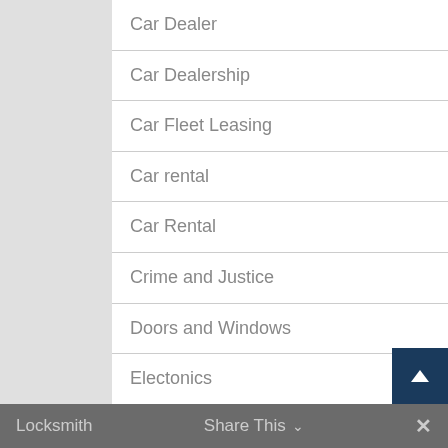Car Dealer
Car Dealership
Car Fleet Leasing
Car rental
Car Rental
Crime and Justice
Doors and Windows
Electonics
Ford Dealer
Land Rover Dealer
Locksmith   Share This ∨   ×